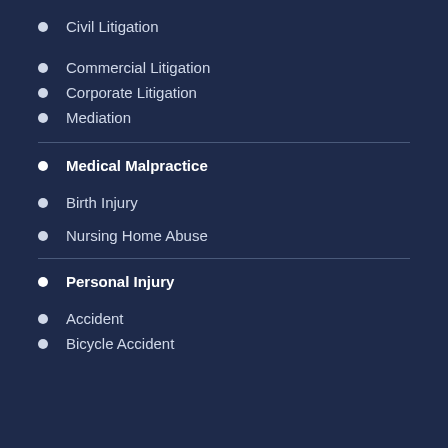Civil Litigation
Commercial Litigation
Corporate Litigation
Mediation
Medical Malpractice
Birth Injury
Nursing Home Abuse
Personal Injury
Accident
Bicycle Accident